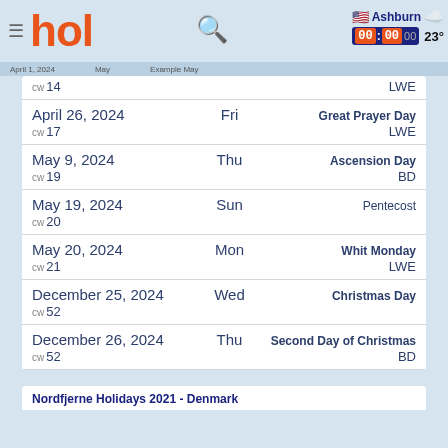hol - Ashburn 23°
| Date | Day | Holiday | CW | Type |
| --- | --- | --- | --- | --- |
| April 26, 2024 | Fri | Great Prayer Day | cw 17 | LWE |
| May 9, 2024 | Thu | Ascension Day | cw 19 | BD |
| May 19, 2024 | Sun | Pentecost | cw 20 |  |
| May 20, 2024 | Mon | Whit Monday | cw 21 | LWE |
| December 25, 2024 | Wed | Christmas Day | cw 52 |  |
| December 26, 2024 | Thu | Second Day of Christmas | cw 52 | BD |
Nordfjerne Holidays 2021 - Denmark